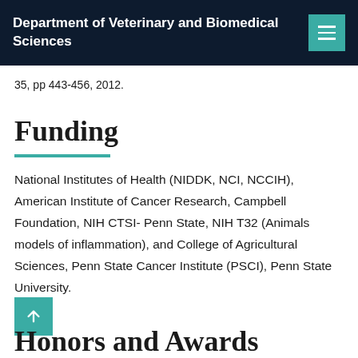Department of Veterinary and Biomedical Sciences
35, pp 443-456, 2012.
Funding
National Institutes of Health (NIDDK, NCI, NCCIH), American Institute of Cancer Research, Campbell Foundation, NIH CTSI- Penn State, NIH T32 (Animals models of inflammation), and College of Agricultural Sciences, Penn State Cancer Institute (PSCI), Penn State University.
Honors and Awards